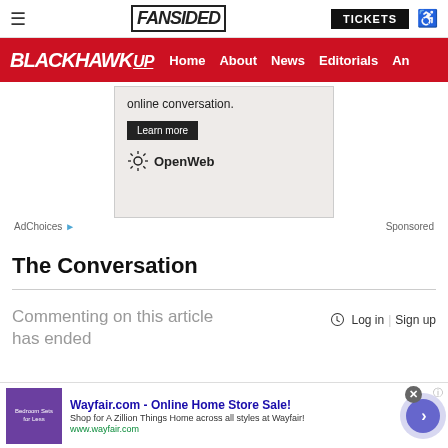≡  FANSIDED  TICKETS  ♿
BLACKHAWK UP  Home  About  News  Editorials  An
[Figure (screenshot): Advertisement box with 'online conversation.' text, Learn more button, and OpenWeb logo on a light gray background]
AdChoices  ▷  Sponsored
The Conversation
Commenting on this article has ended
🔔  Log in | Sign up
[Figure (screenshot): Bottom banner advertisement: Wayfair.com - Online Home Store Sale! Shop for A Zillion Things Home across all styles at Wayfair! www.wayfair.com with a purple product image and navigation arrow]